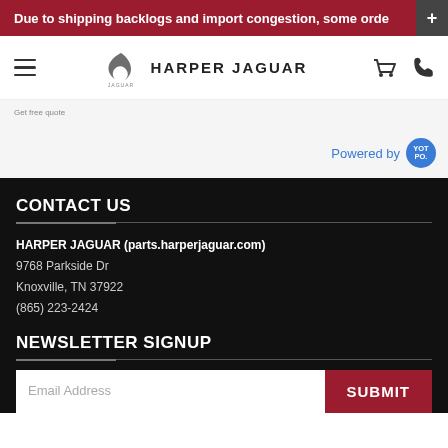Due to shipping backlogs and import congestion, some orde
[Figure (logo): Harper Jaguar logo with Jaguar leaping cat emblem and text HARPER JAGUAR]
Powered by YOTPO
CONTACT US
HARPER JAGUAR (parts.harperjaguar.com)
9768 Parkside Dr
Knoxville, TN 37922
(865) 223-2424
NEWSLETTER SIGNUP
Email Address
SUBMIT